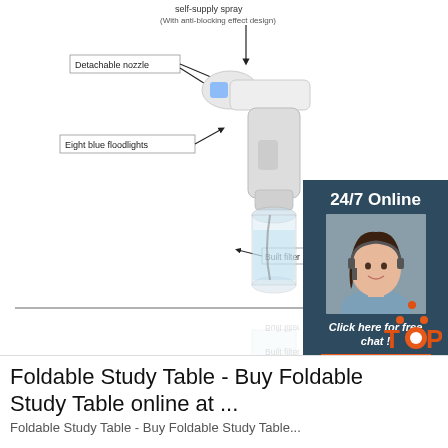[Figure (photo): Annotated diagram of a white handheld spray/disinfection gun device with a clear bottle attached. Labels indicate: 'self-supply spray (With anti-blocking effect design)', 'Detachable nozzle', 'Eight blue floodlights', 'On Light', 'Ma... (Str...)', 'Built filter'. A reflection of the device is shown below a horizontal line.]
[Figure (infographic): Chat widget overlay with dark blue background showing '24/7 Online', woman with headset customer service photo, italic text 'Click here for free chat!', and an orange button labeled 'QUOTATION']
[Figure (logo): Orange and red 'TOP' logo with dots forming a triangle above the word TOP]
Foldable Study Table - Buy Foldable Study Table online at ...
Foldable Study Table - Buy Foldable Study Table online at ...